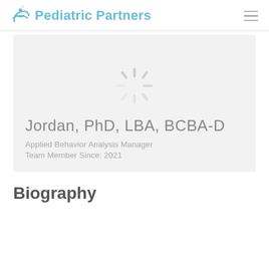Pediatric Partners
[Figure (photo): Loading spinner SVG overlay on profile photo placeholder within a light gray card]
Jordan, PhD, LBA, BCBA-D
Applied Behavior Analysis Manager
Team Member Since: 2021
Biography